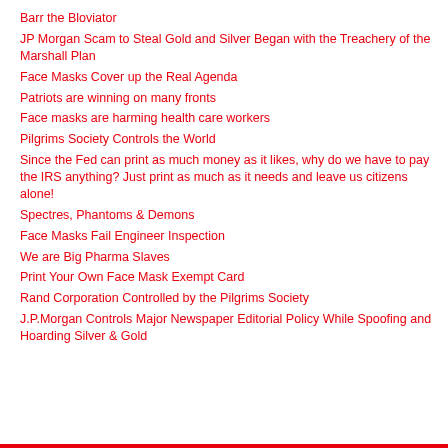Barr the Bloviator
JP Morgan Scam to Steal Gold and Silver Began with the Treachery of the Marshall Plan
Face Masks Cover up the Real Agenda
Patriots are winning on many fronts
Face masks are harming health care workers
Pilgrims Society Controls the World
Since the Fed can print as much money as it likes, why do we have to pay the IRS anything? Just print as much as it needs and leave us citizens alone!
Spectres, Phantoms & Demons
Face Masks Fail Engineer Inspection
We are Big Pharma Slaves
Print Your Own Face Mask Exempt Card
Rand Corporation Controlled by the Pilgrims Society
J.P.Morgan Controls Major Newspaper Editorial Policy While Spoofing and Hoarding Silver & Gold